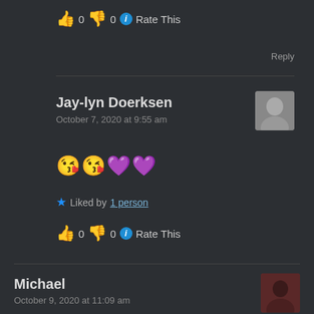👍 0 👎 0 ℹ️ Rate This
Reply
Jay-lyn Doerksen
October 7, 2020 at 9:55 am
[Figure (illustration): Avatar photo of Jay-lyn Doerksen]
😘😘💜💜
★ Liked by 1 person
👍 0 👎 0 ℹ️ Rate This
Michael
October 9, 2020 at 11:09 am
[Figure (photo): Avatar photo of Michael]